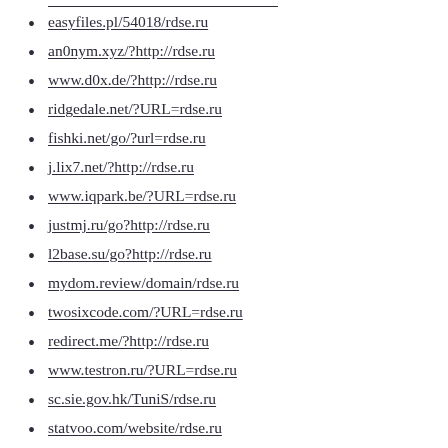easyfiles.pl/54018/rdse.ru
an0nym.xyz/?http://rdse.ru
www.d0x.de/?http://rdse.ru
ridgedale.net/?URL=rdse.ru
fishki.net/go/?url=rdse.ru
j.lix7.net/?http://rdse.ru
www.iqpark.be/?URL=rdse.ru
justmj.ru/go?http://rdse.ru
l2base.su/go?http://rdse.ru
mydom.review/domain/rdse.ru
twosixcode.com/?URL=rdse.ru
redirect.me/?http://rdse.ru
www.testron.ru/?URL=rdse.ru
sc.sie.gov.hk/TuniS/rdse.ru
statvoo.com/website/rdse.ru
anonymz.com/?http://rdse.ru
www.gdngrs.com/?URL=rdse.ru
rzngmu.ru/go?http://rdse.ru
alhaid.ru/go?http://rdse.ru